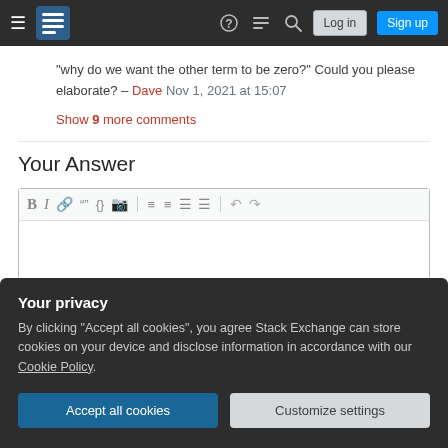Stack Exchange navigation bar with Log in and Sign up buttons
"why do we want the other term to be zero?" Could you please elaborate? – Dave Nov 1, 2021 at 15:07
Show 9 more comments
Your Answer
[Figure (screenshot): Rich text editor toolbar with bold, italic, link, blockquote, code, image, ordered list, unordered list, align left, align justify, undo, redo buttons]
Your privacy
By clicking "Accept all cookies", you agree Stack Exchange can store cookies on your device and disclose information in accordance with our Cookie Policy.
Accept all cookies
Customize settings